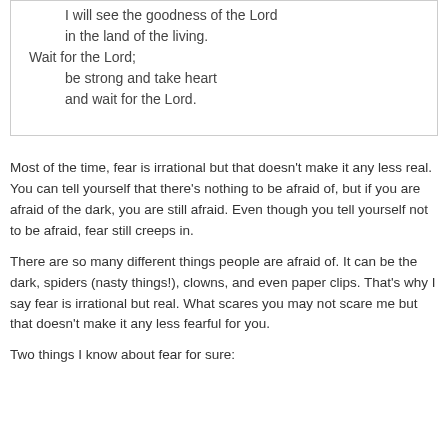I will see the goodness of the Lord
in the land of the living.
Wait for the Lord;
be strong and take heart
and wait for the Lord.
Most of the time, fear is irrational but that doesn't make it any less real. You can tell yourself that there's nothing to be afraid of, but if you are afraid of the dark, you are still afraid. Even though you tell yourself not to be afraid, fear still creeps in.
There are so many different things people are afraid of. It can be the dark, spiders (nasty things!), clowns, and even paper clips. That's why I say fear is irrational but real. What scares you may not scare me but that doesn't make it any less fearful for you.
Two things I know about fear for sure: